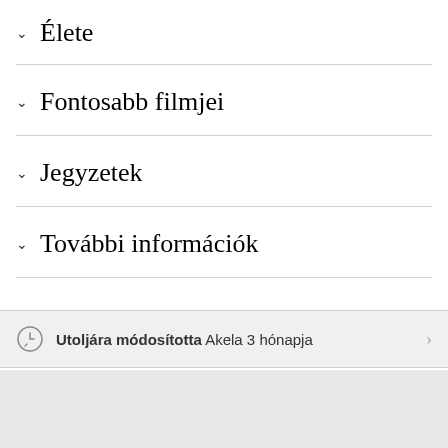∨ Élete
∨ Fontosabb filmjei
∨ Jegyzetek
∨ További információk
Utoljára módosította Akela 3 hónapja